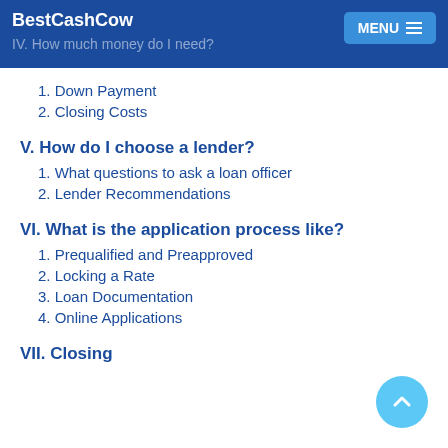BestCashCow
IV. How much money do I need?
1. Down Payment
2. Closing Costs
V. How do I choose a lender?
1. What questions to ask a loan officer
2. Lender Recommendations
VI. What is the application process like?
1. Prequalified and Preapproved
2. Locking a Rate
3. Loan Documentation
4. Online Applications
VII. Closing